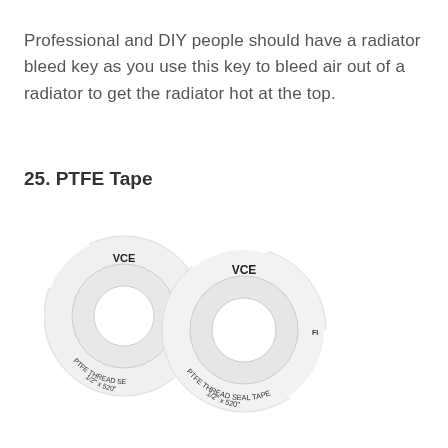Professional and DIY people should have a radiator bleed key as you use this key to bleed air out of a radiator to get the radiator hot at the top.
25. PTFE Tape
[Figure (photo): Two rolls of VCE PTFE Thread Seal Tape, 1/2" x 520", white, one slightly behind the other]